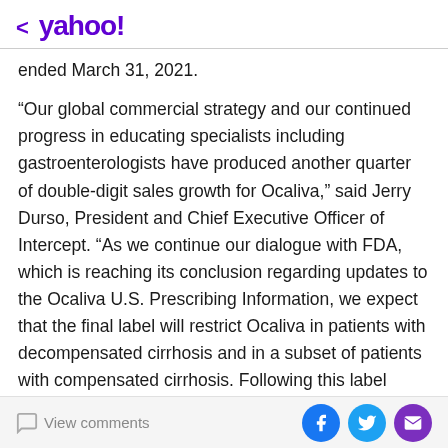< yahoo!
ended March 31, 2021.
“Our global commercial strategy and our continued progress in educating specialists including gastroenterologists have produced another quarter of double-digit sales growth for Ocaliva,” said Jerry Durso, President and Chief Executive Officer of Intercept. “As we continue our dialogue with FDA, which is reaching its conclusion regarding updates to the Ocaliva U.S. Prescribing Information, we expect that the final label will restrict Ocaliva in patients with decompensated cirrhosis and in a subset of patients with compensated cirrhosis. Following this label update, Ocaliva will remain an important option for the significant majority of
View comments